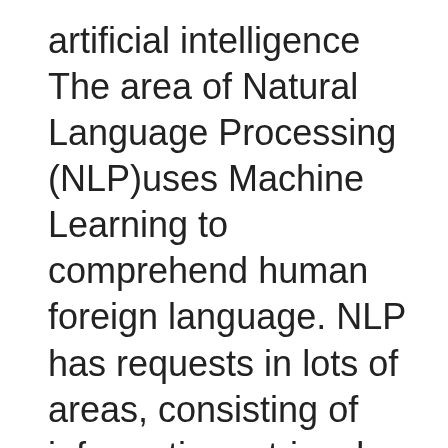artificial intelligence The area of Natural Language Processing (NLP)uses Machine Learning to comprehend human foreign language. NLP has requests in lots of areas, consisting of information retrieval, web search, inquiry answering, message summation, and also machine interpretation. It is the center modern technology responsible for chatbots and Siri. Learn https://www.kickstarter.com/profile/1332826946/about about this growing